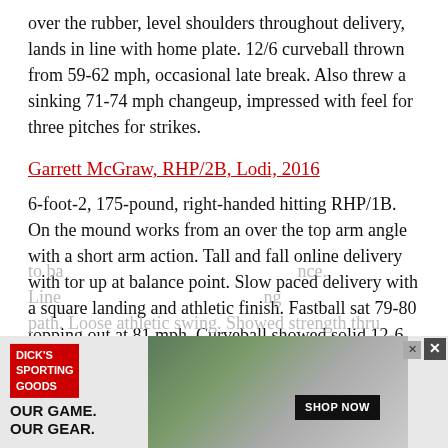over the rubber, level shoulders throughout delivery, lands in line with home plate. 12/6 curveball thrown from 59-62 mph, occasional late break. Also threw a sinking 71-74 mph changeup, impressed with feel for three pitches for strikes.
Garrett McGraw, RHP/2B, Lodi, 2016
6-foot-2, 175-pound, right-handed hitting RHP/1B. On the mound works from an over the top arm angle with a short arm action. Tall and fall online delivery with tor up at balance point. Slow paced delivery with a square landing and athletic finish. Fastball sat 79-80 topping out at 81 mph. Curveball showed solid 12-6 shape at 62-65 mph. Slowed arm on changeup at 63-66 mph. In the field has a short arm action from a high ¾ arm slot. Plays thru the ball with soft hands and fluid footwork. Projects for 3B. Threw 78 mph across the infield. At the plate hits from a balanced setup, loads to ba...nce. Line...ng path. Loose athletic swing. Showed strength thru
[Figure (photo): Advertisement overlay: Dick's Sporting Goods ad with text 'OUR GAME. OUR GEAR.' and 'SHOP NOW' button, with a photo of a baseball player in background.]